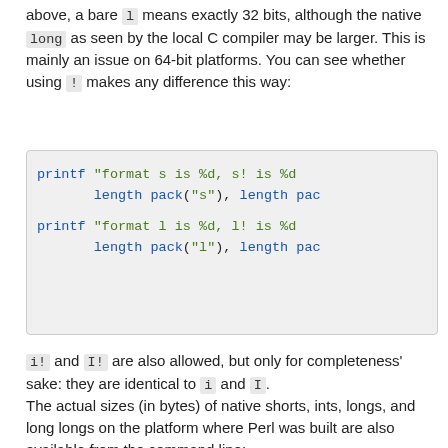above, a bare l means exactly 32 bits, although the native long as seen by the local C compiler may be larger. This is mainly an issue on 64-bit platforms. You can see whether using ! makes any difference this way:
[Figure (other): Code block showing two printf statements with pack format strings for 's' and 'l']
i! and I! are also allowed, but only for completeness' sake: they are identical to i and I. The actual sizes (in bytes) of native shorts, ints, longs, and long longs on the platform where Perl was built are also available from the command line: